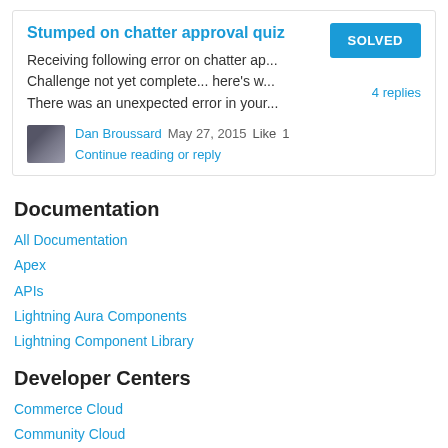Stumped on chatter approval quiz
Receiving following error on chatter ap...
Challenge not yet complete... here's w...
There was an unexpected error in your...
SOLVED
4 replies
Dan Broussard  May 27, 2015  Like  1  Continue reading or reply
Documentation
All Documentation
Apex
APIs
Lightning Aura Components
Lightning Component Library
Developer Centers
Commerce Cloud
Community Cloud
Einstein Analytics
Einstein Platform
Embedded Service SDK for Mobile
Heroku Developer Center
Identity
Integration and APIs
Lightning Apps